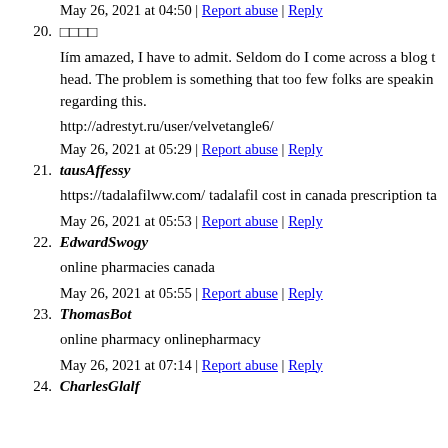May 26, 2021 at 04:50 | Report abuse | Reply
20. □□□□
Iím amazed, I have to admit. Seldom do I come across a blog t head. The problem is something that too few folks are speaking regarding this.
http://adrestyt.ru/user/velvetangle6/
May 26, 2021 at 05:29 | Report abuse | Reply
21. tausAffessy
https://tadalafilww.com/ tadalafil cost in canada prescription ta
May 26, 2021 at 05:53 | Report abuse | Reply
22. EdwardSwogy
online pharmacies canada
May 26, 2021 at 05:55 | Report abuse | Reply
23. ThomasBot
online pharmacy onlinepharmacy
May 26, 2021 at 07:14 | Report abuse | Reply
24. CharlesGlalf